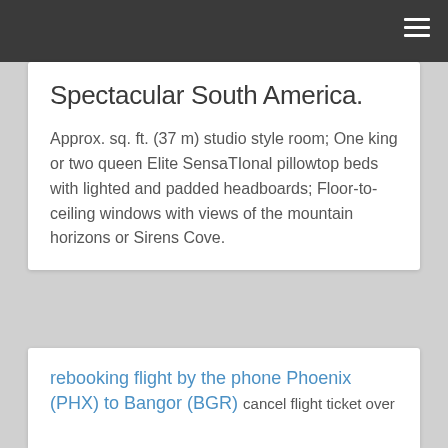Spectacular South America.
Approx. sq. ft. (37 m) studio style room; One king or two queen Elite SensaTIonal pillowtop beds with lighted and padded headboards; Floor-to-ceiling windows with views of the mountain horizons or Sirens Cove.
rebooking flight by the phone Phoenix (PHX) to Bangor (BGR) cancel flight ticket over